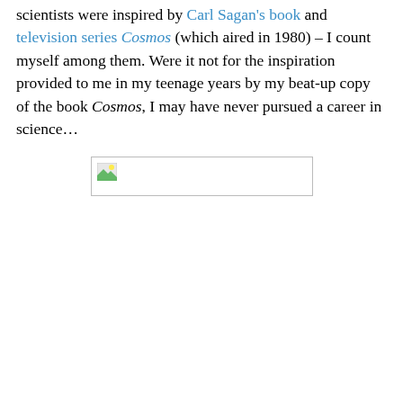scientists were inspired by Carl Sagan's book and television series Cosmos (which aired in 1980) – I count myself among them. Were it not for the inspiration provided to me in my teenage years by my beat-up copy of the book Cosmos, I may have never pursued a career in science…
[Figure (photo): A broken image placeholder rectangle, indicating a missing or failed-to-load image.]